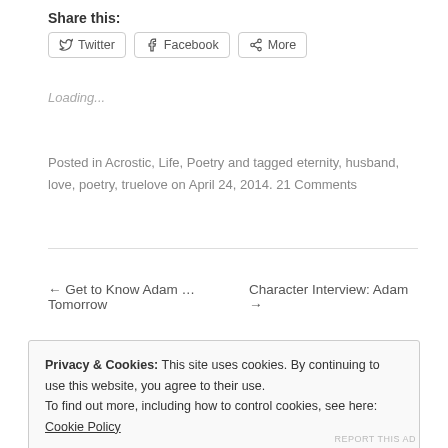Share this:
[Figure (other): Social share buttons: Twitter, Facebook, More]
Loading...
Posted in Acrostic, Life, Poetry and tagged eternity, husband, love, poetry, truelove on April 24, 2014. 21 Comments
← Get to Know Adam … Tomorrow   Character Interview: Adam →
Privacy & Cookies: This site uses cookies. By continuing to use this website, you agree to their use.
To find out more, including how to control cookies, see here: Cookie Policy
Close and accept
REPORT THIS AD